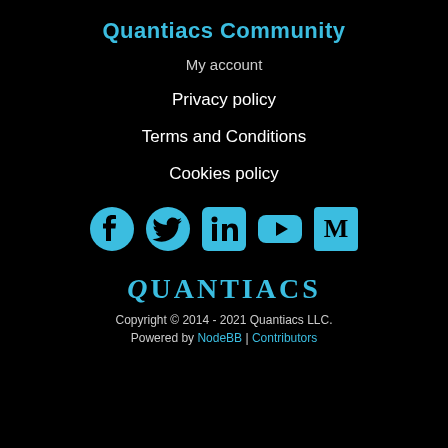Quantiacs Community
My account
Privacy policy
Terms and Conditions
Cookies policy
[Figure (infographic): Social media icons row: Facebook, Twitter, LinkedIn, YouTube, Medium — all in cyan/blue color on black background]
QUANTIACS
Copyright © 2014 - 2021 Quantiacs LLC.
Powered by NodeBB | Contributors